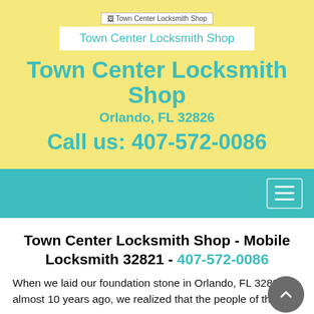[Figure (logo): Town Center Locksmith Shop logo placeholder image with broken image icon]
Town Center Locksmith Shop
Town Center Locksmith Shop
Orlando, FL 32826
Call us: 407-572-0086
[Figure (other): Teal navigation bar with hamburger menu button on the right]
Town Center Locksmith Shop - Mobile Locksmith 32821 - 407-572-0086
When we laid our foundation stone in Orlando, FL 32821, almost 10 years ago, we realized that the people of the city